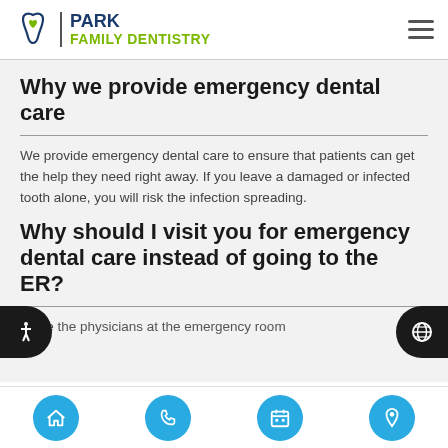[Figure (logo): Park Family Dentistry logo with tooth icon and green/navy text]
Why we provide emergency dental care
We provide emergency dental care to ensure that patients can get the help they need right away. If you leave a damaged or infected tooth alone, you will risk the infection spreading.
Why should I visit you for emergency dental care instead of going to the ER?
While the physicians at the emergency room